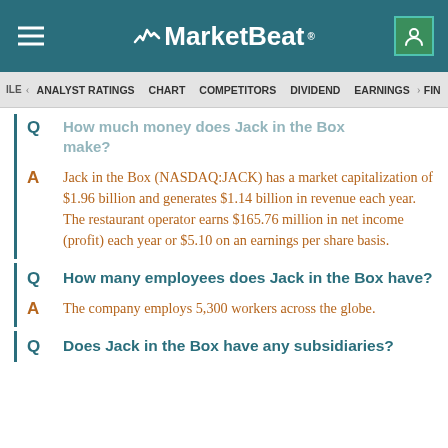MarketBeat
ILE  ANALYST RATINGS  CHART  COMPETITORS  DIVIDEND  EARNINGS  >FIN
How much money does Jack in the Box make?
Jack in the Box (NASDAQ:JACK) has a market capitalization of $1.96 billion and generates $1.14 billion in revenue each year. The restaurant operator earns $165.76 million in net income (profit) each year or $5.10 on an earnings per share basis.
How many employees does Jack in the Box have?
The company employs 5,300 workers across the globe.
Does Jack in the Box have any subsidiaries?